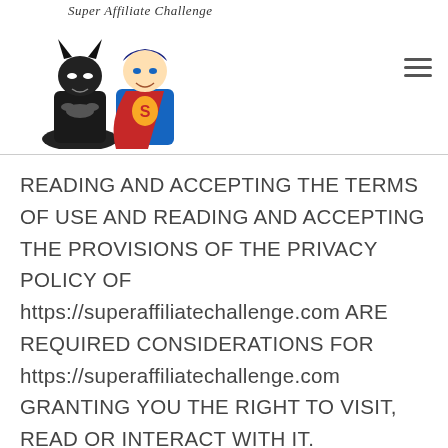[Figure (logo): Super Affiliate Challenge logo with Batman and Superman LEGO figures and cursive text 'Super Affiliate Challenge']
READING AND ACCEPTING THE TERMS OF USE AND READING AND ACCEPTING THE PROVISIONS OF THE PRIVACY POLICY OF https://superaffiliatechallenge.com ARE REQUIRED CONSIDERATIONS FOR https://superaffiliatechallenge.com GRANTING YOU THE RIGHT TO VISIT, READ OR INTERACT WITH IT.

ALL PERSONS ARE DENIED ACCESS TO THIS SITE UNLESS THEY READ AND ACCEPT THE